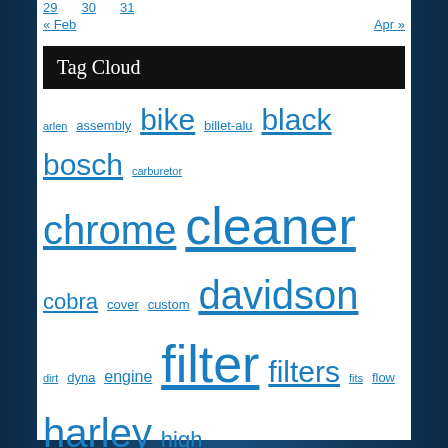29   30   31
« Feb   Apr »
Tag Cloud
arlen assembly bike billet-alu black bosch carburetor chrome cleaner cobra cover custom davidson dirt dyna engine filter filters fits flow harley high honda indian intake kawasaki luftfilter luftmassenmesser mini motorcycle motorcycles ness performance replacement rick's schwarz softail sportster stage street suzuki system touring twin yamaha